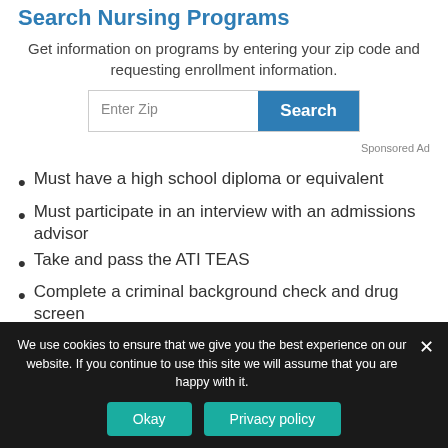Search Nursing Programs
Get information on programs by entering your zip code and requesting enrollment information.
Sponsored Ad
Must have a high school diploma or equivalent
Must participate in an interview with an admissions advisor
Take and pass the ATI TEAS
Complete a criminal background check and drug screen
We use cookies to ensure that we give you the best experience on our website. If you continue to use this site we will assume that you are happy with it.